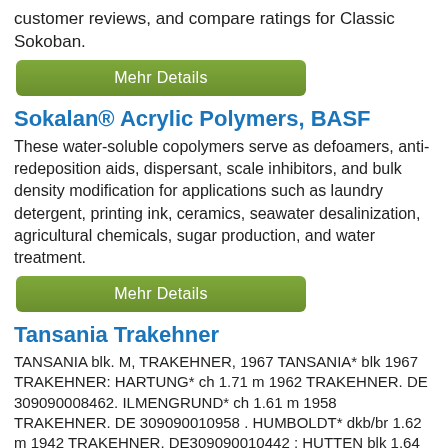customer reviews, and compare ratings for Classic Sokoban.
Mehr Details
Sokalan® Acrylic Polymers, BASF
These water-soluble copolymers serve as defoamers, anti-redeposition aids, dispersant, scale inhibitors, and bulk density modification for applications such as laundry detergent, printing ink, ceramics, seawater desalinization, agricultural chemicals, sugar production, and water treatment.
Mehr Details
Tansania Trakehner
TANSANIA blk. M, TRAKEHNER, 1967 TANSANIA* blk 1967 TRAKEHNER: HARTUNG* ch 1.71 m 1962 TRAKEHNER. DE 309090008462. ILMENGRUND* ch 1.61 m 1958 TRAKEHNER. DE 309090010958 . HUMBOLDT* dkb/br 1.62 m 1942 TRAKEHNER. DE309090010442 : HUTTEN blk 1.64 m 1933: ARARAD* blk 1.68 m 1921: HULLUCH: blk 159 cm